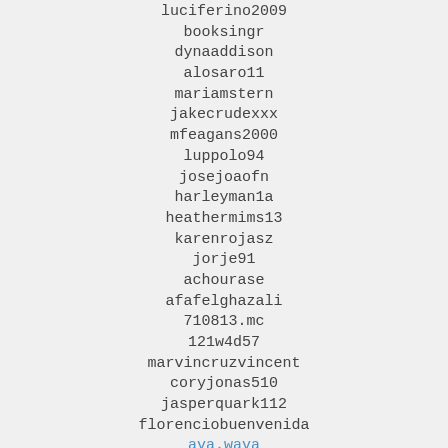luciferino2009
booksingr
dynaaddison
alosaro11
mariamstern
jakecrudexxx
mfeagans2000
luppolo94
josejoaofn
harleyman1a
heathermims13
karenrojasz
jorje91
achourase
afafelghazali
710813.mc
121w4d57
marvincruzvincent
coryjonas510
jasperquark112
florenciobuenvenida
ava.wava
alexhui16
leticia804